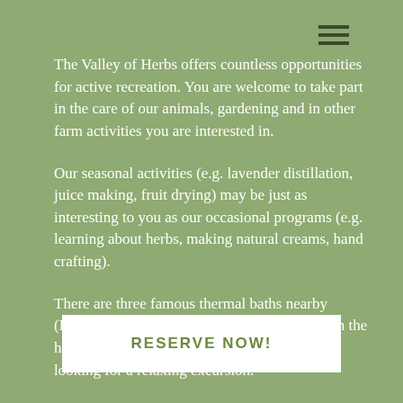The Valley of Herbs offers countless opportunities for active recreation. You are welcome to take part in the care of our animals, gardening and in other farm activities you are interested in.
Our seasonal activities (e.g. lavender distillation, juice making, fruit drying) may be just as interesting to you as our occasional programs (e.g. learning about herbs, making natural creams, hand crafting).
There are three famous thermal baths nearby (Hévíz, Kehidakustány, Zalaszentgrót) between the hills and vineyards of Zala, attracting tourists looking for a relaxing excursion.
RESERVE NOW!